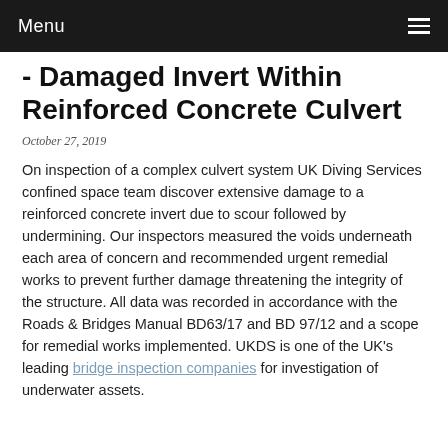Menu
- Damaged Invert Within Reinforced Concrete Culvert
October 27, 2019
On inspection of a complex culvert system UK Diving Services confined space team discover extensive damage to a reinforced concrete invert due to scour followed by undermining. Our inspectors measured the voids underneath each area of concern and recommended urgent remedial works to prevent further damage threatening the integrity of the structure. All data was recorded in accordance with the Roads & Bridges Manual BD63/17 and BD 97/12 and a scope for remedial works implemented. UKDS is one of the UK's leading bridge inspection companies for investigation of underwater assets.